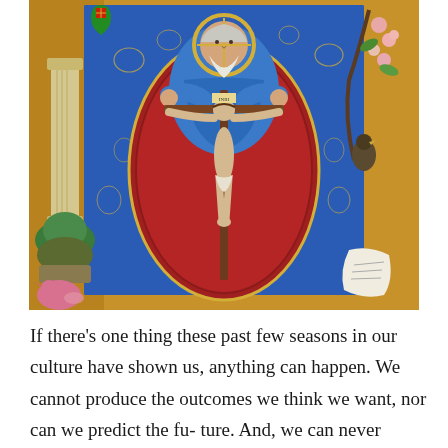[Figure (illustration): Medieval illuminated manuscript painting depicting the Holy Trinity / Throne of Grace: God the Father (an elderly bearded man in blue robes with a halo) seated and holding a crucifix with Christ crucified upon it, surrounded by a large red mandorla against a rich blue background decorated with gold scrollwork. Flanking elements include an ornate column with green foliage on the left, a flowering tree with a bird (falcon/hawk) on the upper right, a pink bird on the lower left, and a white scroll/book on the lower right.]
If there's one thing these past few seasons in our culture have shown us, anything can happen. We cannot produce the outcomes we think we want, nor can we predict the fu- ture. And, we can never really be certain